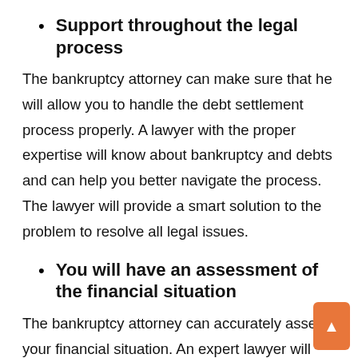Support throughout the legal process
The bankruptcy attorney can make sure that he will allow you to handle the debt settlement process properly. A lawyer with the proper expertise will know about bankruptcy and debts and can help you better navigate the process. The lawyer will provide a smart solution to the problem to resolve all legal issues.
You will have an assessment of the financial situation
The bankruptcy attorney can accurately assess your financial situation. An expert lawyer will spend their time assessing the current financial situation and suggesting the best course of